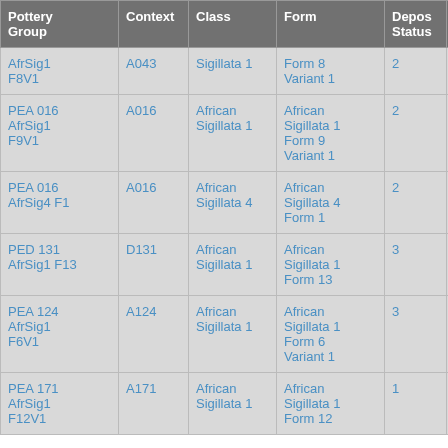| Pottery Group | Context | Class | Form | Depos Status | R Ct | R EV |
| --- | --- | --- | --- | --- | --- | --- |
| AfrSig1 F8V1 | A043 | Sigillata 1 | Form 8 Variant 1 | 2 | 1 | 1 |
| PEA 016 AfrSig1 F9V1 | A016 | African Sigillata 1 | African Sigillata 1 Form 9 Variant 1 | 2 | 1 | 1 |
| PEA 016 AfrSig4 F1 | A016 | African Sigillata 4 | African Sigillata 4 Form 1 | 2 | 1 | 1 |
| PED 131 AfrSig1 F13 | D131 | African Sigillata 1 | African Sigillata 1 Form 13 | 3 | 1 | 1 |
| PEA 124 AfrSig1 F6V1 | A124 | African Sigillata 1 | African Sigillata 1 Form 6 Variant 1 | 3 | 1 | 1 |
| PEA 171 AfrSig1 F12V1 | A171 | African Sigillata 1 | African Sigillata 1 Form 12 | 1 | 1 | 1 |